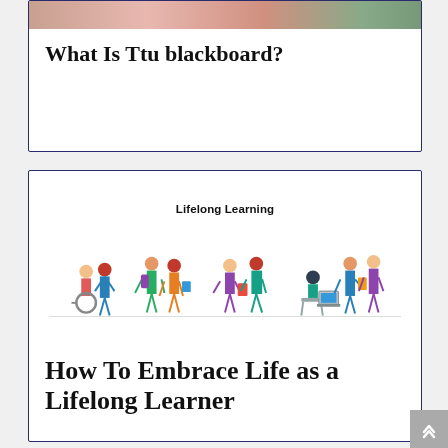[Figure (photo): Partial view of a photo showing a person in a red top, likely studying or doing homework, cropped at the top of the card]
What Is Ttu blackboard?
Lifelong Learning
[Figure (illustration): Colorful illustration showing diverse groups of people at different life stages engaging in learning activities: a child in a wheelchair with a friend, teenagers with backpacks and books, adults reading together, and a person at a laptop with others standing nearby.]
How To Embrace Life as a Lifelong Learner